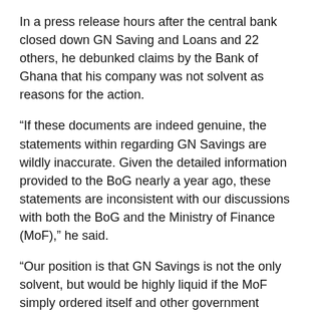In a press release hours after the central bank closed down GN Saving and Loans and 22 others, he debunked claims by the Bank of Ghana that his company was not solvent as reasons for the action.
“If these documents are indeed genuine, the statements within regarding GN Savings are wildly inaccurate. Given the detailed information provided to the BoG nearly a year ago, these statements are inconsistent with our discussions with both the BoG and the Ministry of Finance (MoF),” he said.
“Our position is that GN Savings is not the only solvent, but would be highly liquid if the MoF simply ordered itself and other government agencies to quickly pay amounts owed to GN Savings and other related entities. We expect this matter to be resolved in due course.”